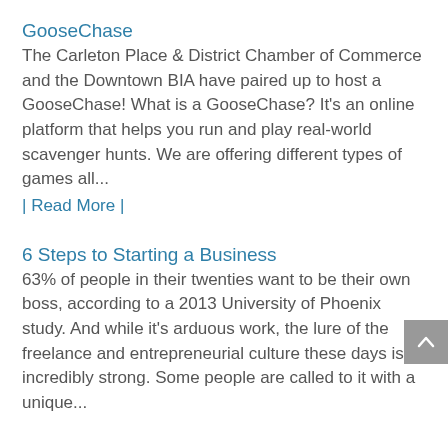GooseChase
The Carleton Place & District Chamber of Commerce and the Downtown BIA have paired up to host a GooseChase! What is a GooseChase? It's an online platform that helps you run and play real-world scavenger hunts. We are offering different types of games all...
| Read More |
6 Steps to Starting a Business
63% of people in their twenties want to be their own boss, according to a 2013 University of Phoenix study. And while it's arduous work, the lure of the freelance and entrepreneurial culture these days is incredibly strong. Some people are called to it with a unique...